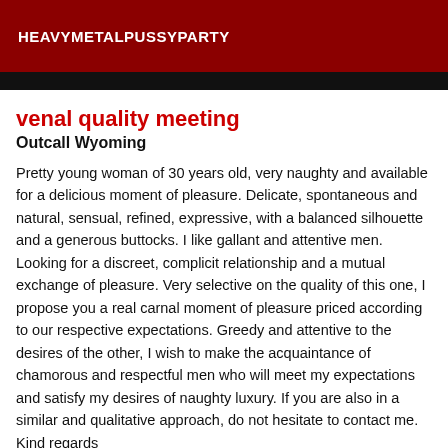HEAVYMETALPUSSYPARTY
venal quality meeting
Outcall Wyoming
Pretty young woman of 30 years old, very naughty and available for a delicious moment of pleasure. Delicate, spontaneous and natural, sensual, refined, expressive, with a balanced silhouette and a generous buttocks. I like gallant and attentive men. Looking for a discreet, complicit relationship and a mutual exchange of pleasure. Very selective on the quality of this one, I propose you a real carnal moment of pleasure priced according to our respective expectations. Greedy and attentive to the desires of the other, I wish to make the acquaintance of chamorous and respectful men who will meet my expectations and satisfy my desires of naughty luxury. If you are also in a similar and qualitative approach, do not hesitate to contact me. Kind regards